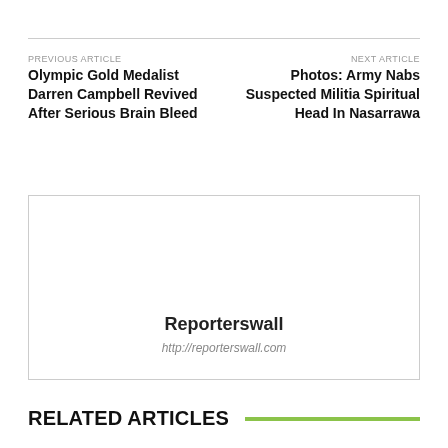PREVIOUS ARTICLE
Olympic Gold Medalist Darren Campbell Revived After Serious Brain Bleed
NEXT ARTICLE
Photos: Army Nabs Suspected Militia Spiritual Head In Nasarrawa
[Figure (other): Advertisement box with site name Reporterswall and URL http://reporterswall.com]
RELATED ARTICLES